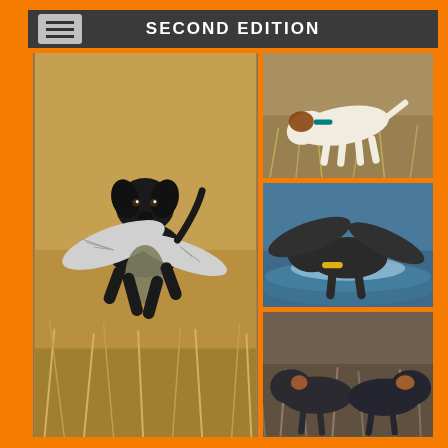SECOND EDITION
[Figure (photo): Black Labrador retriever running toward camera carrying a large bird (grouse/pheasant) with wings spread, in a golden grass field]
[Figure (photo): White and brown pointer/spaniel dog in a field of dry brown grass/brush, wearing a teal/green collar, nose to the ground hunting]
[Figure (photo): Dark wet dog (spaniel) retrieving a large bird with wings spread from water, splashing]
[Figure (photo): Two dark spaniels in dry brush/shrubs, one with visible orange/brown markings]